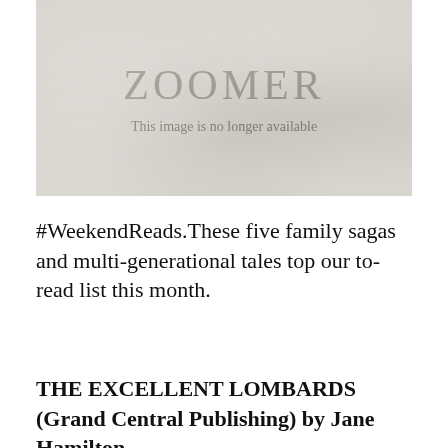[Figure (photo): Zoomer magazine placeholder image with crumpled paper texture background, ZOOMER logo in gray serif text, and caption 'This image is no longer available']
#WeekendReads.These five family sagas and multi-generational tales top our to-read list this month.
THE EXCELLENT LOMBARDS (Grand Central Publishing) by Jane Hamilton